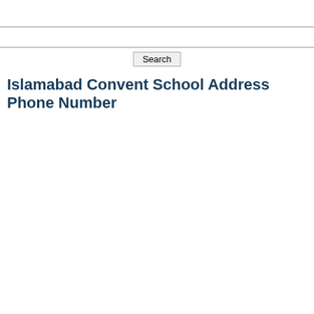Islamabad Convent School Address Phone Number